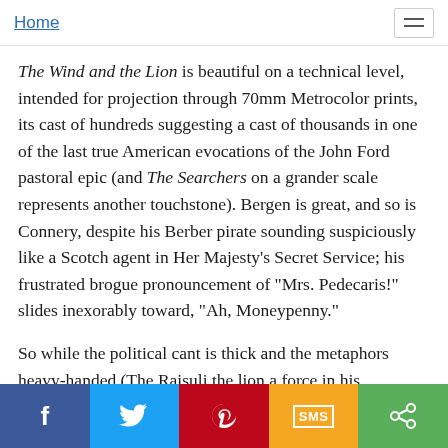Home
The Wind and the Lion is beautiful on a technical level, intended for projection through 70mm Metrocolor prints, its cast of hundreds suggesting a cast of thousands in one of the last true American evocations of the John Ford pastoral epic (and The Searchers on a grander scale represents another touchstone). Bergen is great, and so is Connery, despite his Berber pirate sounding suspiciously like a Scotch agent in Her Majesty's Secret Service; his frustrated brogue pronouncement of "Mrs. Pedecaris!" slides inexorably toward, "Ah, Moneypenny."
So while the political cant is thick and the metaphors heavy-handed (The Raisuli the lion a force in his environment, Roosevelt the wind, in all its unstoppable/divine implications, a force in all environments), The Wind and the Lion is a bracing, thought-provoking, often infuriating picture that by its very
f  [twitter]  [pinterest]  SMS  [share]